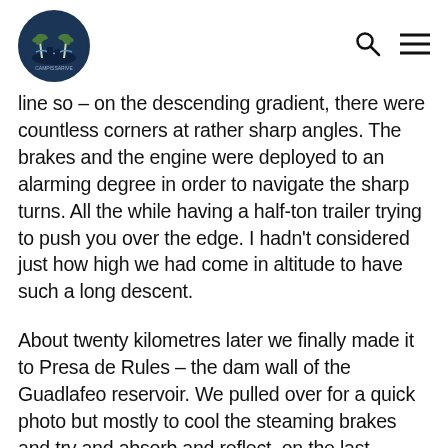[Logo] [Search icon] [Menu icon]
line so – on the descending gradient, there were countless corners at rather sharp angles. The brakes and the engine were deployed to an alarming degree in order to navigate the sharp turns. All the while having a half-ton trailer trying to push you over the edge. I hadn't considered just how high we had come in altitude to have such a long descent.
About twenty kilometres later we finally made it to Presa de Rules – the dam wall of the Guadlafeo reservoir. We pulled over for a quick photo but mostly to cool the steaming brakes and try and absorb and reflect, on the last couple of hours...